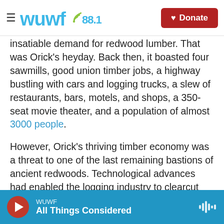WUWF 88.1 — Donate
insatiable demand for redwood lumber. That was Orick's heyday. Back then, it boasted four sawmills, good union timber jobs, a highway bustling with cars and logging trucks, a slew of restaurants, bars, motels, and shops, a 350-seat movie theater, and a population of almost 3000 people.
However, Orick's thriving timber economy was a threat to one of the last remaining bastions of ancient redwoods. Technological advances had enabled the logging industry to clearcut redwoods at an unprecedented scale. The resulting ecological devastation was contributing to floods and
WUWF — All Things Considered